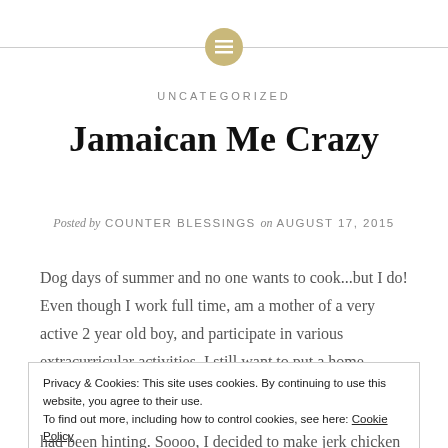[Figure (logo): Circular gold/tan icon with a lines/menu symbol, flanked by horizontal divider lines]
UNCATEGORIZED
Jamaican Me Crazy
Posted by COUNTER BLESSINGS on AUGUST 17, 2015
Dog days of summer and no one wants to cook...but I do! Even though I work full time, am a mother of a very active 2 year old boy, and participate in various extracurricular activities, I still want to put a home
Privacy & Cookies: This site uses cookies. By continuing to use this website, you agree to their use.
To find out more, including how to control cookies, see here: Cookie Policy
Close and accept
had been hinting. Soooo, I decided to make jerk chicken